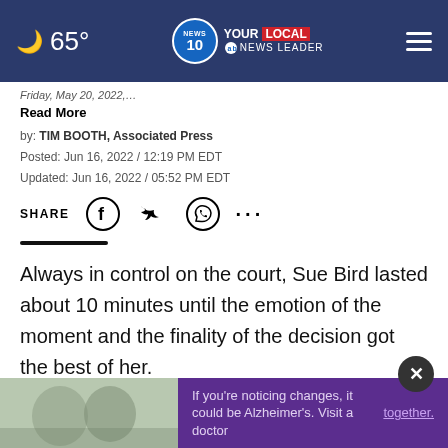🌙 65° | NEWS 10 YOUR LOCAL NEWS LEADER | ☰
Friday, May 20, 2022,…
Read More
by: TIM BOOTH, Associated Press
Posted: Jun 16, 2022 / 12:19 PM EDT
Updated: Jun 16, 2022 / 05:52 PM EDT
SHARE
Always in control on the court, Sue Bird lasted about 10 minutes until the emotion of the moment and the finality of the decision got the best of her.
After 21 professional seasons, one of the greatest baske
[Figure (photo): Advertisement overlay showing two men and Alzheimer's awareness text: 'If you're noticing changes, it could be Alzheimer's. Visit a doctor together.' on purple background, with close (X) button]